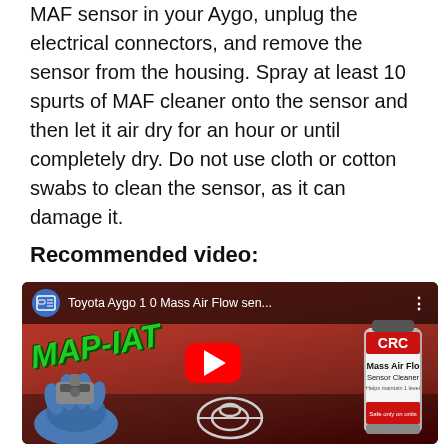MAF sensor in your Aygo, unplug the electrical connectors, and remove the sensor from the housing. Spray at least 10 spurts of MAF cleaner onto the sensor and then let it air dry for an hour or until completely dry. Do not use cloth or cotton swabs to clean the sensor, as it can damage it.
Recommended video:
[Figure (screenshot): YouTube video thumbnail showing Toyota Aygo 1 0 Mass Air Flow sen... with a red car background, MAP-IAT text in green, a CRC Mass Air Flow Sensor Cleaner can, a gloved hand holding a sensor, YouTube play button, and Toyota logo at bottom.]